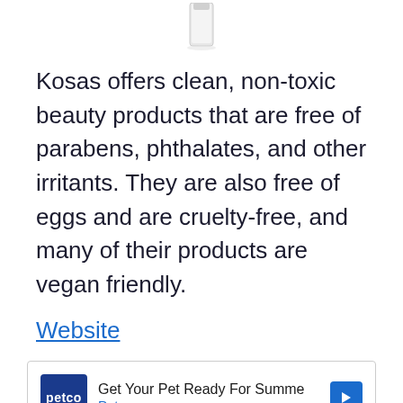[Figure (photo): Partial view of a beauty product bottle cropped at the top]
Kosas offers clean, non-toxic beauty products that are free of parabens, phthalates, and other irritants. They are also free of eggs and are cruelty-free, and many of their products are vegan friendly.
Website
[Figure (screenshot): Advertisement: Petco - Get Your Pet Ready For Summe / Petco]